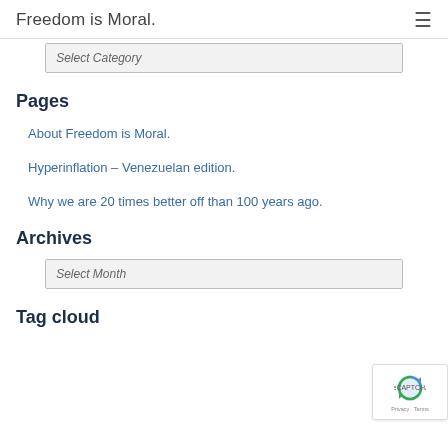Freedom is Moral.
Select Category
Pages
About Freedom is Moral.
Hyperinflation – Venezuelan edition.
Why we are 20 times better off than 100 years ago.
Archives
Select Month
Tag cloud